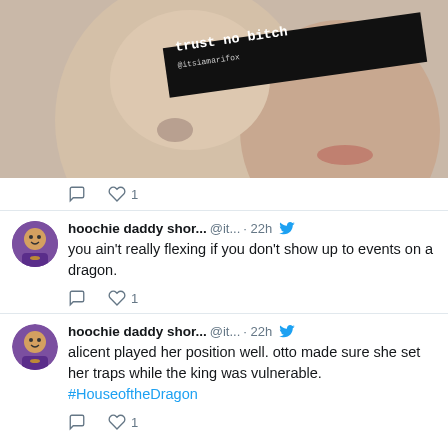[Figure (photo): Two faces close together with a black censored bar over the eyes area, text 'trust no bitch' and '@itsiamarifox' on the bar]
♡ 1
hoochie daddy shor... @it... · 22h
you ain't really flexing if you don't show up to events on a dragon.
♡ 1
hoochie daddy shor... @it... · 22h
alicent played her position well. otto made sure she set her traps while the king was vulnerable. #HouseoftheDragon
♡ 1